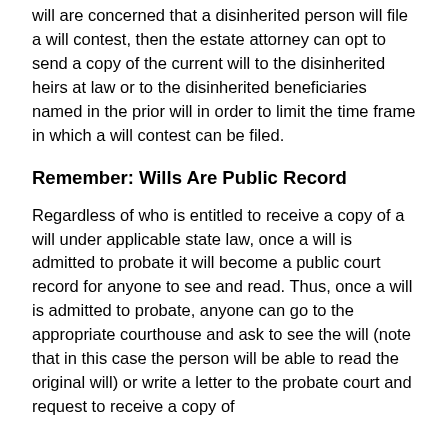will are concerned that a disinherited person will file a will contest, then the estate attorney can opt to send a copy of the current will to the disinherited heirs at law or to the disinherited beneficiaries named in the prior will in order to limit the time frame in which a will contest can be filed.
Remember: Wills Are Public Record
Regardless of who is entitled to receive a copy of a will under applicable state law, once a will is admitted to probate it will become a public court record for anyone to see and read. Thus, once a will is admitted to probate, anyone can go to the appropriate courthouse and ask to see the will (note that in this case the person will be able to read the original will) or write a letter to the probate court and request to receive a copy of